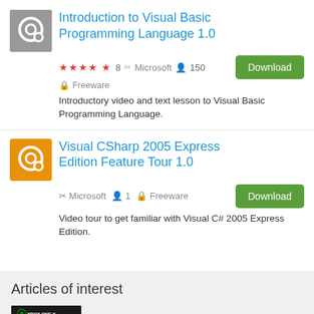Introduction to Visual Basic Programming Language 1.0
★★★★★ 8  ✏ Microsoft  👤 150  🔒 Freeware
Introductory video and text lesson to Visual Basic Programming Language.
Visual CSharp 2005 Express Edition Feature Tour 1.0
✏ Microsoft  👤 1  🔒 Freeware
Video tour to get familiar with Visual C# 2005 Express Edition.
Articles of interest
Xbox One X: 5 cool features